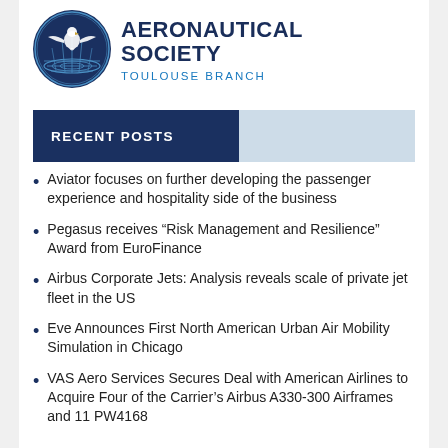[Figure (logo): Royal Aeronautical Society Toulouse Branch circular logo with eagle and globe on dark blue background]
AERONAUTICAL SOCIETY
TOULOUSE BRANCH
RECENT POSTS
Aviator focuses on further developing the passenger experience and hospitality side of the business
Pegasus receives “Risk Management and Resilience” Award from EuroFinance
Airbus Corporate Jets: Analysis reveals scale of private jet fleet in the US
Eve Announces First North American Urban Air Mobility Simulation in Chicago
VAS Aero Services Secures Deal with American Airlines to Acquire Four of the Carrier’s Airbus A330-300 Airframes and 11 PW4168